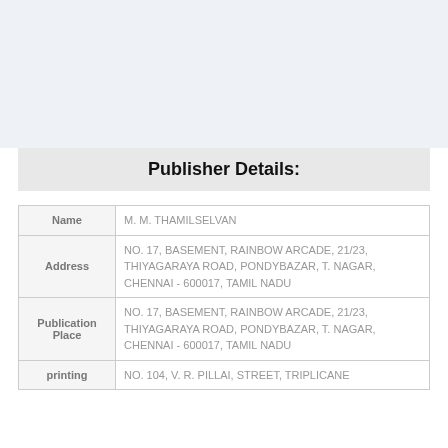Publisher Details:
| Field | Value |
| --- | --- |
| Name | M. M. THAMILSELVAN |
| Address | NO. 17, BASEMENT, RAINBOW ARCADE, 21/23, THIYAGARAYA ROAD, PONDYBAZAR, T. NAGAR, CHENNAI - 600017, TAMIL NADU |
| Publication Place | NO. 17, BASEMENT, RAINBOW ARCADE, 21/23, THIYAGARAYA ROAD, PONDYBAZAR, T. NAGAR, CHENNAI - 600017, TAMIL NADU |
| printing | NO. 104, V. R. PILLAI, STREET, TRIPLICANE |